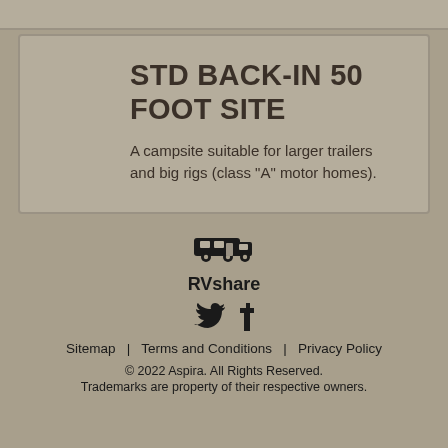STD BACK-IN 50 FOOT SITE
A campsite suitable for larger trailers and big rigs (class "A" motor homes).
[Figure (logo): RVshare logo icon showing an RV vehicle]
RVshare
[Figure (illustration): Twitter and Facebook social media icons]
Sitemap | Terms and Conditions | Privacy Policy
© 2022 Aspira. All Rights Reserved.
Trademarks are property of their respective owners.